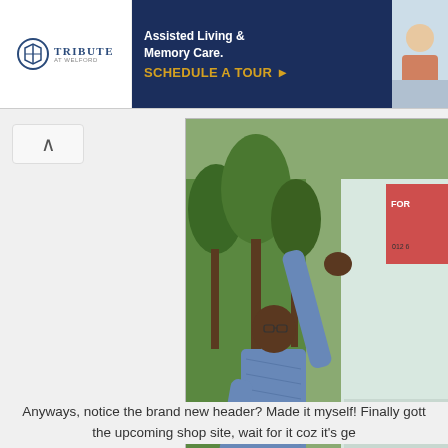[Figure (illustration): Advertisement banner for Tribute at Welford - Assisted Living and Memory Care with Schedule a Tour button]
[Figure (photo): A man in a blue shirt placing or removing something from a notice board or recycling bin outside, with Chinese text visible on the board reading 3638 100 and environmental recycling related text]
Anyways, notice the brand new header? Made it myself! Finally gott the upcoming shop site, wait for it coz it's ge